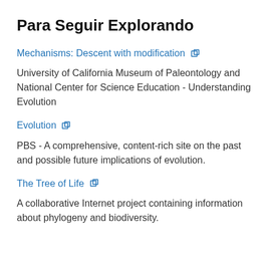Para Seguir Explorando
Mechanisms: Descent with modification 🔗
University of California Museum of Paleontology and National Center for Science Education - Understanding Evolution
Evolution 🔗
PBS - A comprehensive, content-rich site on the past and possible future implications of evolution.
The Tree of Life 🔗
A collaborative Internet project containing information about phylogeny and biodiversity.